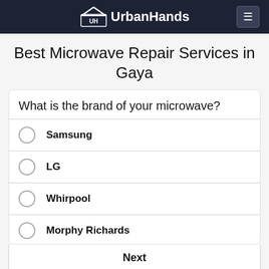UrbanHands
Best Microwave Repair Services in Gaya
What is the brand of your microwave?
Samsung
LG
Whirpool
Morphy Richards
Next